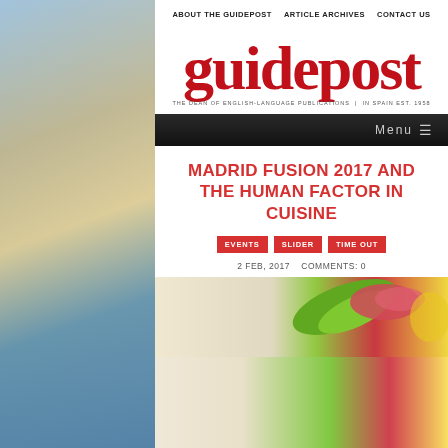ABOUT THE GUIDEPOST   ARTICLE ARCHIVES   CONTACT US
[Figure (logo): Guidepost magazine logo in red serif font with tagline: THE DEAN OF ENGLISH-LANGUAGE PUBLICATIONS IN SPAIN EST. 1958]
Menu ≡
MADRID FUSION 2017 AND THE HUMAN FACTOR IN CUISINE
EVENTS
SLIDER
TIME OUT
2 FEB, 2017   COMMENTS: 0
[Figure (photo): Bottom partial image showing food and Madrid Fusion 2017 event text: 23.24.25 ENERO. JANUARY XV EDICIÓN. EDITION]